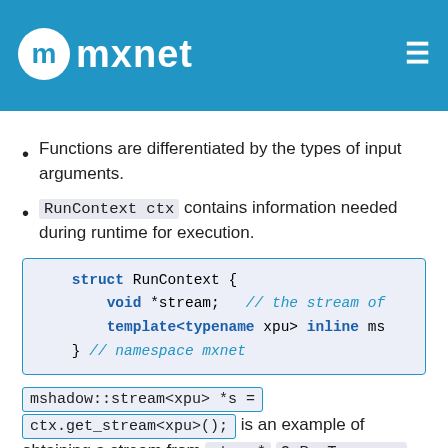mxnet
Functions are differentiated by the types of input arguments.
RunContext ctx contains information needed during runtime for execution.
[Figure (screenshot): Code block showing struct RunContext { void *stream; // the stream of  template<typename xpu> inline ms  } // namespace mxnet]
mshadow::stream<xpu> *s =
ctx.get_stream<xpu>(); is an example of obtaining a stream from ctx .* OpReqType req denotes how computation results are written into